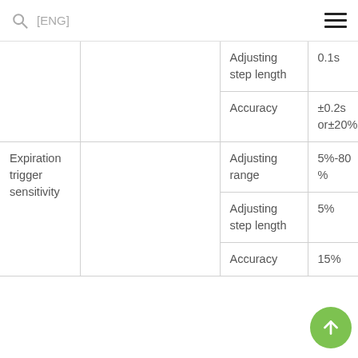[ENG]
|  |  | Adjusting step length | 0.1s |
| --- | --- | --- | --- |
|  |  | Accuracy | ±0.2s or±20% |
| Expiration trigger sensitivity |  | Adjusting range | 5%-80 % |
|  |  | Adjusting step length | 5% |
|  |  | Accuracy | 15% |